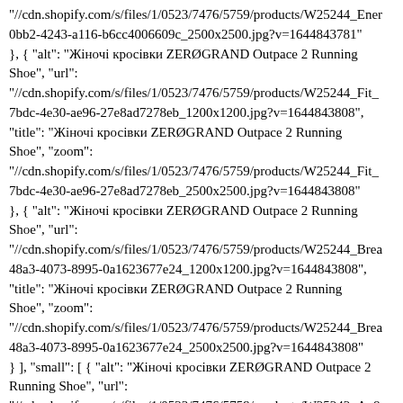"//cdn.shopify.com/s/files/1/0523/7476/5759/products/W25244_Ener 0bb2-4243-a116-b6cc4006609c_2500x2500.jpg?v=1644843781" }, { "alt": "Жіночі кросівки ZERØGRAND Outpace 2 Running Shoe", "url": "//cdn.shopify.com/s/files/1/0523/7476/5759/products/W25244_Fit_ 7bdc-4e30-ae96-27e8ad7278eb_1200x1200.jpg?v=1644843808", "title": "Жіночі кросівки ZERØGRAND Outpace 2 Running Shoe", "zoom": "//cdn.shopify.com/s/files/1/0523/7476/5759/products/W25244_Fit_ 7bdc-4e30-ae96-27e8ad7278eb_2500x2500.jpg?v=1644843808" }, { "alt": "Жіночі кросівки ZERØGRAND Outpace 2 Running Shoe", "url": "//cdn.shopify.com/s/files/1/0523/7476/5759/products/W25244_Brea 48a3-4073-8995-0a1623677e24_1200x1200.jpg?v=1644843808", "title": "Жіночі кросівки ZERØGRAND Outpace 2 Running Shoe", "zoom": "//cdn.shopify.com/s/files/1/0523/7476/5759/products/W25244_Brea 48a3-4073-8995-0a1623677e24_2500x2500.jpg?v=1644843808" } ], "small": [ { "alt": "Жіночі кросівки ZERØGRAND Outpace 2 Running Shoe", "url": "//cdn.shopify.com/s/files/1/0523/7476/5759/products/W25242_A_8 v=1644502267", "title": "Жіночі кросівки ZERØGRAND Outpace 2 Running Shoe", "zoom": "//cdn.shopify.com/s/files/1/0523/7476/5759/products/W25242_A_2 v=1644502267" }, { "alt": "Жіночі кросівки ZERØGRAND